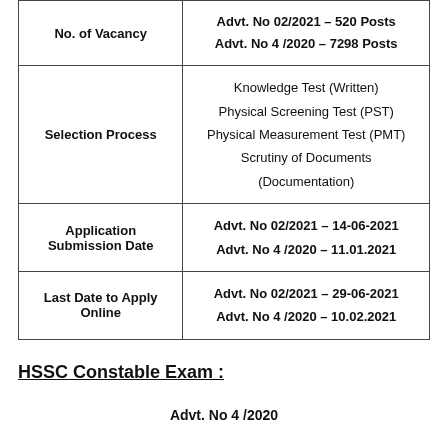| Field | Details |
| --- | --- |
| No. of Vacancy | Advt. No 02/2021 – 520 Posts
Advt. No 4 /2020 – 7298 Posts |
| Selection Process | Knowledge Test (Written)
Physical Screening Test (PST)
Physical Measurement Test (PMT)
Scrutiny of Documents (Documentation) |
| Application Submission Date | Advt. No 02/2021 – 14-06-2021
Advt. No 4 /2020 – 11.01.2021 |
| Last Date to Apply Online | Advt. No 02/2021 – 29-06-2021
Advt. No 4 /2020 – 10.02.2021 |
HSSC Constable Exam :
Advt. No 4 /2020